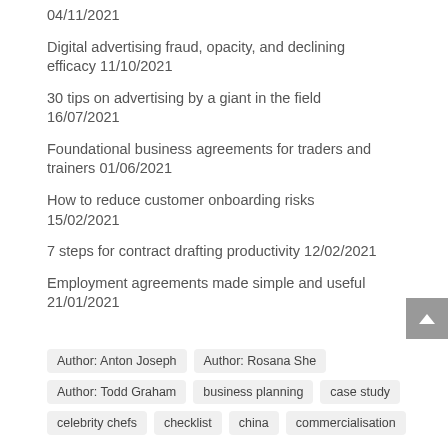04/11/2021
Digital advertising fraud, opacity, and declining efficacy 11/10/2021
30 tips on advertising by a giant in the field 16/07/2021
Foundational business agreements for traders and trainers 01/06/2021
How to reduce customer onboarding risks 15/02/2021
7 steps for contract drafting productivity 12/02/2021
Employment agreements made simple and useful 21/01/2021
Author: Anton Joseph | Author: Rosana She | Author: Todd Graham | business planning | case study | celebrity chefs | checklist | china | commercialisation